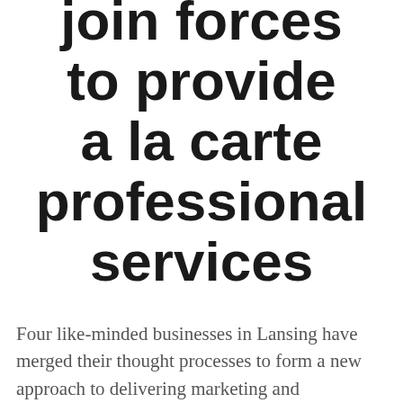join forces to provide a la carte professional services
Four like-minded businesses in Lansing have merged their thought processes to form a new approach to delivering marketing and